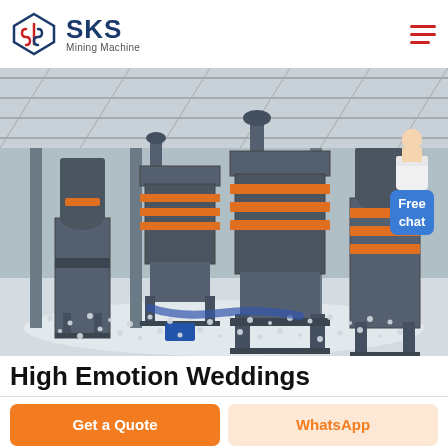SKS Mining Machine
[Figure (photo): Industrial mining machines (vertical mills/crushers) inside a large factory/warehouse with concrete floor covered in white gravel/aggregate, orange structural accents, steel framework ceiling]
High Emotion Weddings
Get a Quote
WhatsApp